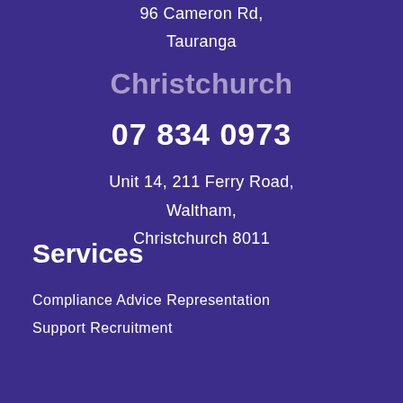96 Cameron Rd,
Tauranga
Christchurch
07 834 0973
Unit 14, 211 Ferry Road,
Waltham,
Christchurch 8011
Services
Compliance Advice Representation
Support Recruitment